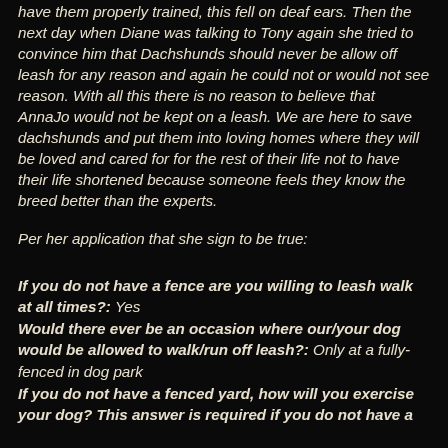have them properly trained, this fell on deaf ears. Then the next day when Diane was talking to Tony again she tried to convince him that Dachshunds should never be allow off leash for any reason and again he could not or would not see reason. With all this there is no reason to believe that AnnaJo would not be kept on a leash. We are here to save dachshunds and put them into loving homes where they will be loved and cared for for the rest of their life not to have their life shortened because someone feels they know the breed better than the experts.
Per her application that she sign to be true:
If you do not have a fence are you willing to leash walk at all times?: Yes
Would there ever be an occasion where our/your dog would be allowed to walk/run off leash?: Only at a fully-fenced in dog park
If you do not have a fenced yard, how will you exercise your dog? This answer is required if you do not have a